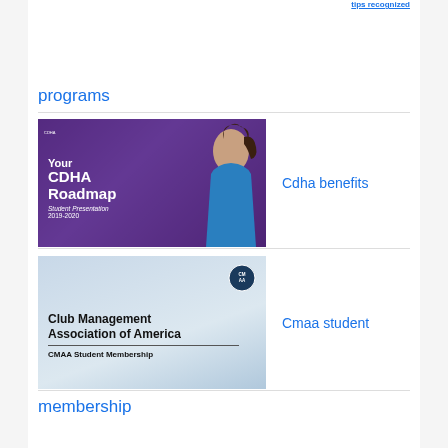tips recognized
programs
[Figure (photo): CDHA Roadmap Student Presentation 2019-2020 slide cover with smiling student in blue shirt]
Cdha benefits
[Figure (photo): Club Management Association of America CMAA Student Membership cover image with light blue background and CMAA logo]
Cmaa student
membership